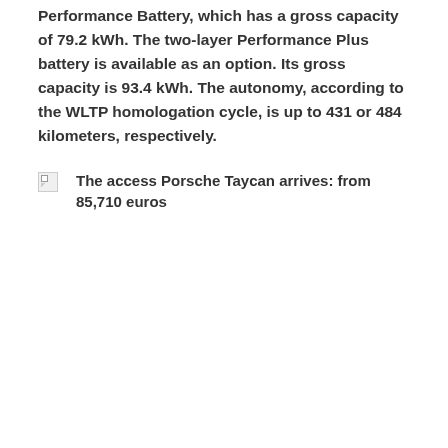Performance Battery, which has a gross capacity of 79.2 kWh. The two-layer Performance Plus battery is available as an option. Its gross capacity is 93.4 kWh. The autonomy, according to the WLTP homologation cycle, is up to 431 or 484 kilometers, respectively.
[Figure (photo): Broken image placeholder with caption: The access Porsche Taycan arrives: from 85,710 euros]
The access Porsche Taycan arrives: from 85,710 euros
The Taycan accelerates from 0 to 100 km / h in 5.4 secondsregardless of the battery used. Its maximum speed is